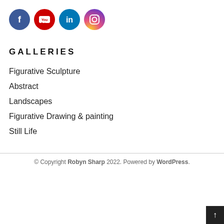[Figure (logo): Four social media icons in circles: Facebook (blue), YouTube (red), LinkedIn (blue), Instagram (gradient purple-orange)]
GALLERIES
Figurative Sculpture
Abstract
Landscapes
Figurative Drawing & painting
Still Life
© Copyright Robyn Sharp 2022. Powered by WordPress.